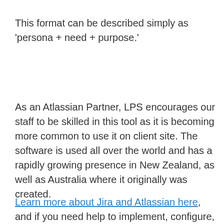This format can be described simply as 'persona + need + purpose.'
As an Atlassian Partner, LPS encourages our staff to be skilled in this tool as it is becoming more common to use it on client site. The software is used all over the world and has a rapidly growing presence in New Zealand, as well as Australia where it originally was created.
Learn more about Jira and Atlassian here, and if you need help to implement, configure, or to improve your